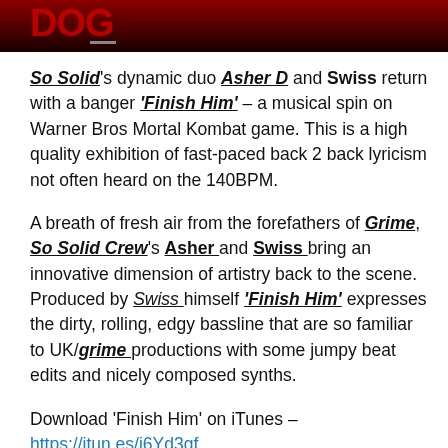[Figure (photo): Dark red/black banner image with partial text logo visible]
So Solid's dynamic duo Asher D and Swiss return with a banger 'Finish Him' – a musical spin on Warner Bros Mortal Kombat game. This is a high quality exhibition of fast-paced back 2 back lyricism not often heard on the 140BPM.
A breath of fresh air from the forefathers of Grime, So Solid Crew's Asher and Swiss bring an innovative dimension of artistry back to the scene. Produced by Swiss himself 'Finish Him' expresses the dirty, rolling, edgy bassline that are so familiar to UK/grime productions with some jumpy beat edits and nicely composed synths.
Download 'Finish Him' on iTunes – https://itun.es/i6Yd3qf